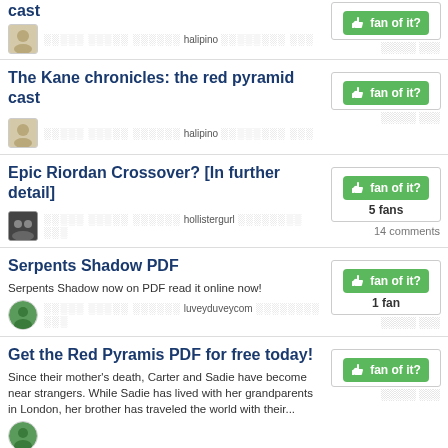cast (partial, top of page)
The Kane chronicles: the red pyramid cast
Epic Riordan Crossover? [In further detail] — 5 fans, 14 comments
Serpents Shadow PDF — Serpents Shadow now on PDF read it online now! — 1 fan
Get the Red Pyramis PDF for free today! — Since their mother's death, Carter and Sadie have become near strangers. While Sadie has lived with her grandparents in London, her brother has traveled the world with their...